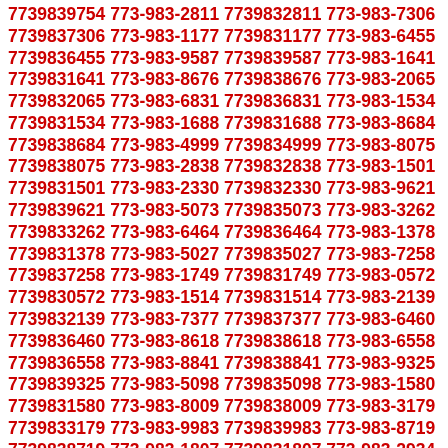7739839754 773-983-2811 7739832811 773-983-7306 7739837306 773-983-1177 7739831177 773-983-6455 7739836455 773-983-9587 7739839587 773-983-1641 7739831641 773-983-8676 7739838676 773-983-2065 7739832065 773-983-6831 7739836831 773-983-1534 7739831534 773-983-1688 7739831688 773-983-8684 7739838684 773-983-4999 7739834999 773-983-8075 7739838075 773-983-2838 7739832838 773-983-1501 7739831501 773-983-2330 7739832330 773-983-9621 7739839621 773-983-5073 7739835073 773-983-3262 7739833262 773-983-6464 7739836464 773-983-1378 7739831378 773-983-5027 7739835027 773-983-7258 7739837258 773-983-1749 7739831749 773-983-0572 7739830572 773-983-1514 7739831514 773-983-2139 7739832139 773-983-7377 7739837377 773-983-6460 7739836460 773-983-8618 7739838618 773-983-6558 7739836558 773-983-8841 7739838841 773-983-9325 7739839325 773-983-5098 7739835098 773-983-1580 7739831580 773-983-8009 7739838009 773-983-3179 7739833179 773-983-9983 7739839983 773-983-8719 7739838719 773-983-1807 7739831807 773-983-2934 7739832934 773-983-9100 7739839100 773-983-2731 7739832731 773-983-6719 7739836719 773-983-1381 7739831381 773-983-3327 7739833327 773-983-7230 7739837230 773-983-5273 7739835273 773-983-8297 7739838297 773-983-1502 7739831502 773-983-1482